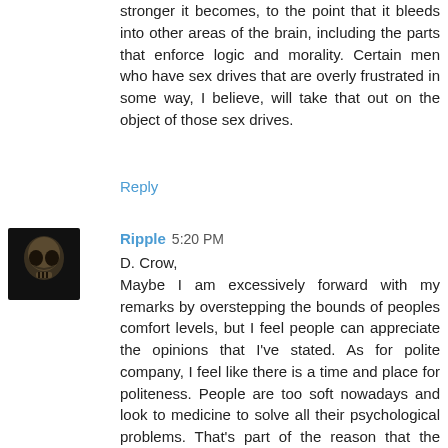stronger it becomes, to the point that it bleeds into other areas of the brain, including the parts that enforce logic and morality. Certain men who have sex drives that are overly frustrated in some way, I believe, will take that out on the object of those sex drives.
Reply
Ripple  5:20 PM
D. Crow,
Maybe I am excessively forward with my remarks by overstepping the bounds of peoples comfort levels, but I feel people can appreciate the opinions that I've stated. As for polite company, I feel like there is a time and place for politeness. People are too soft nowadays and look to medicine to solve all their psychological problems. That's part of the reason that the American family is falling apart. Kids are being put on Ritalin because moms and dads don't have the time to rear their children properly in such a fast paced world. I blame most of this on women because rather than accept their role as a nurturing mother, they have to force their way into a professional life for respect.